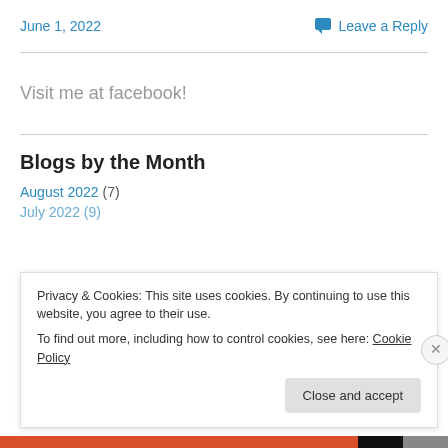June 1, 2022
💬 Leave a Reply
Visit me at facebook!
Blogs by the Month
August 2022 (7)
July 2022 (9)
Privacy & Cookies: This site uses cookies. By continuing to use this website, you agree to their use.
To find out more, including how to control cookies, see here: Cookie Policy
Close and accept